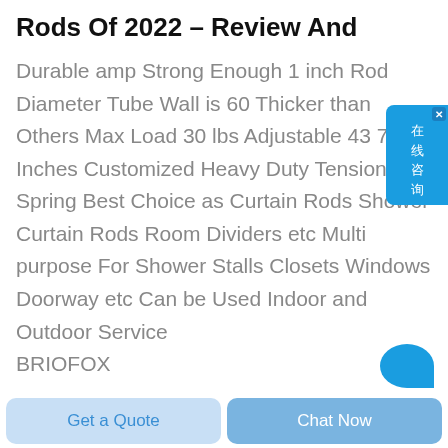Rods Of 2022 – Review And
Durable amp Strong Enough 1 inch Rod Diameter Tube Wall is 60 Thicker than Others Max Load 30 lbs Adjustable 43 72 Inches Customized Heavy Duty Tension Spring Best Choice as Curtain Rods Shower Curtain Rods Room Dividers etc Multi purpose For Shower Stalls Closets Windows Doorway etc Can be Used Indoor and Outdoor Service
BRIOFOX
[Figure (other): Blue chat widget button on the right side with Chinese characters 在线咨询 (online consultation) and a close X button]
[Figure (other): Blue circular chat bubble icon partially visible at bottom right]
Get a Quote
Chat Now